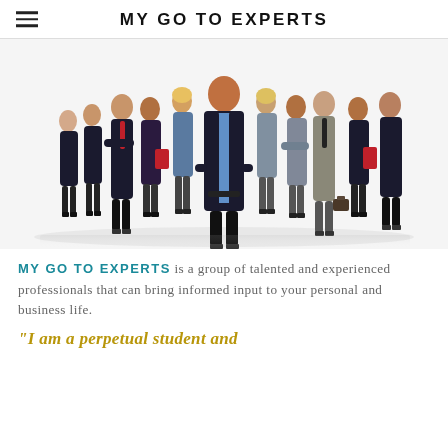MY GO TO EXPERTS
[Figure (photo): Group of business professionals in formal attire standing together, with a smiling man in the center wearing a light blue shirt and dark jacket, hands on hips.]
MY GO TO EXPERTS is a group of talented and experienced professionals that can bring informed input to your personal and business life.
"I am a perpetual student and